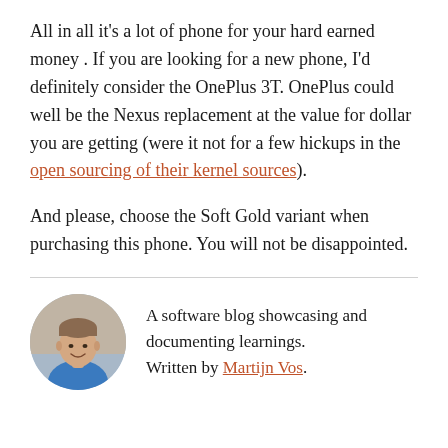All in all it's a lot of phone for your hard earned money . If you are looking for a new phone, I'd definitely consider the OnePlus 3T. OnePlus could well be the Nexus replacement at the value for dollar you are getting (were it not for a few hickups in the open sourcing of their kernel sources).
And please, choose the Soft Gold variant when purchasing this phone. You will not be disappointed.
[Figure (photo): Circular portrait photo of a young man smiling, wearing a blue shirt, photographed outdoors.]
A software blog showcasing and documenting learnings. Written by Martijn Vos.